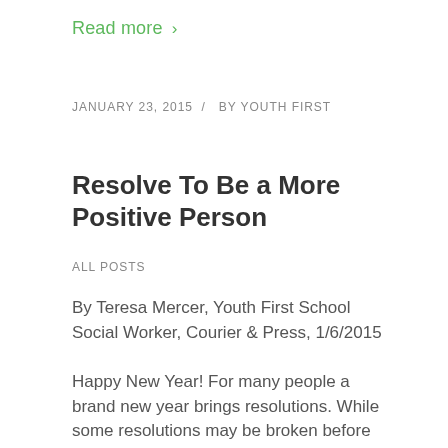Read more >
JANUARY 23, 2015  /  BY YOUTH FIRST
Resolve To Be a More Positive Person
ALL POSTS
By Teresa Mercer, Youth First School Social Worker, Courier & Press, 1/6/2015
Happy New Year! For many people a brand new year brings resolutions. While some resolutions may be broken before Valentine's Day, many will produce positive